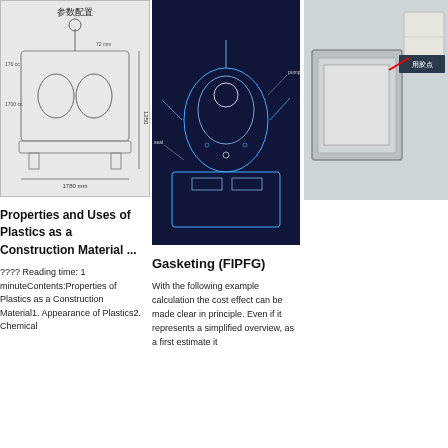[Figure (schematic): Technical schematic/engineering diagram of a machine with dimension lines labeled in Chinese (参数配置), showing cylindrical tanks, robotic arm, and base platform with dimension annotations]
Properties and Uses of Plastics as a Construction Material ...
???? Reading time: 1 minuteContents:Properties of Plastics as a Construction Material1. Appearance of Plastics2. Chemical
[Figure (engineering-diagram): Dark background engineering schematic of a FIPFG gasketing machine with blue annotation lines and labels on a navy background]
Gasketing (FIPFG)
With the following example calculation the cost effect can be made clear in principle. Even if it represents a simplified overview, as a first estimate it
[Figure (photo): Product photo showing a grey metal panel/filter frame with a small inset corner detail and Chinese label '用胶点' indicating adhesive point, with a red pointer]
24/7 Online
[Figure (photo): Photo of a female customer service agent wearing a headset, smiling, with dark hair, against a light background]
Click here for free chat !
QUOTATION
Broc
When combustion you can trouble unmonitored mechanical seal leak. What you can afford is the safe and cost-effective operation of your plant with an
[Figure (logo): TOP logo with red dots and red bold text]